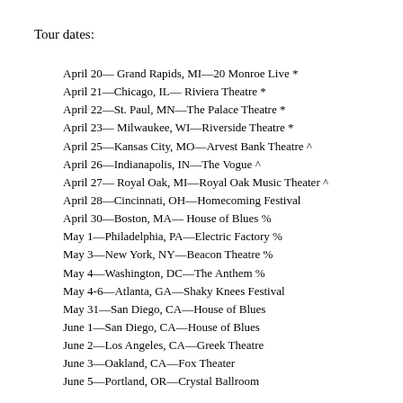Tour dates:
April 20— Grand Rapids, MI—20 Monroe Live *
April 21—Chicago, IL— Riviera Theatre *
April 22—St. Paul, MN—The Palace Theatre *
April 23— Milwaukee, WI—Riverside Theatre *
April 25—Kansas City, MO—Arvest Bank Theatre ^
April 26—Indianapolis, IN—The Vogue ^
April 27— Royal Oak, MI—Royal Oak Music Theater ^
April 28—Cincinnati, OH—Homecoming Festival
April 30—Boston, MA— House of Blues %
May 1—Philadelphia, PA—Electric Factory %
May 3—New York, NY—Beacon Theatre %
May 4—Washington, DC—The Anthem %
May 4-6—Atlanta, GA—Shaky Knees Festival
May 31—San Diego, CA—House of Blues
June 1—San Diego, CA—House of Blues
June 2—Los Angeles, CA—Greek Theatre
June 3—Oakland, CA—Fox Theater
June 5—Portland, OR—Crystal Ballroom